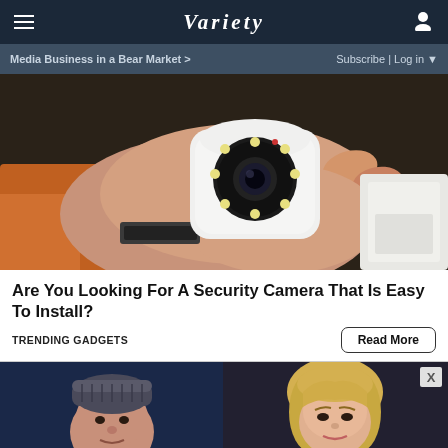VARIETY
Media Business in a Bear Market >  Subscribe | Log in
[Figure (photo): A hand holding a small white security camera with multiple LED lights arranged in a circle around a central lens]
Are You Looking For A Security Camera That Is Easy To Install?
TRENDING GADGETS
[Figure (photo): Two side-by-side photos of actors/celebrities, left showing a man in a knit cap against dark blue background, right showing a blonde woman]
[Figure (infographic): Advertisement banner: SHOULD YOU TRY NFL+? HERE'S HOW TO DECIDE with SPY logo]